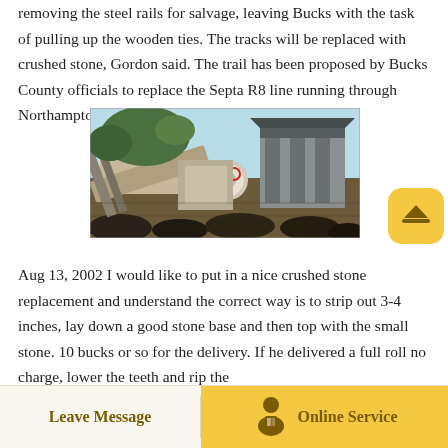removing the steel rails for salvage, leaving Bucks with the task of pulling up the wooden ties. The tracks will be replaced with crushed stone, Gordon said. The trail has been proposed by Bucks County officials to replace the Septa R8 line running through Northampton.
[Figure (photo): Photograph of heavy industrial crushing/mining machinery outdoors with crushed stone and rocky ground in background, blue sky visible above.]
Aug 13, 2002 I would like to put in a nice crushed stone replacement and understand the correct way is to strip out 3-4 inches, lay down a good stone base and then top with the small stone. 10 bucks or so for the delivery. If he delivered a full roll no charge, lower the teeth and rip the
Leave Message   Online Service